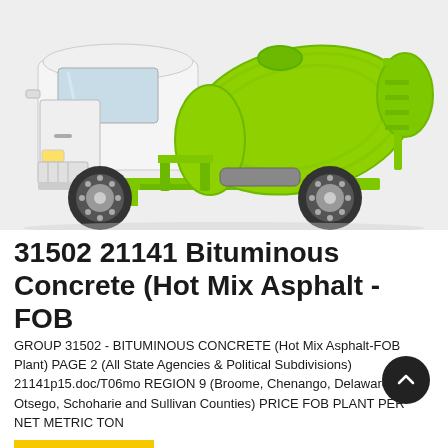[Figure (photo): A cement mixer / concrete transit mixer truck with a white cab and bright lime-green rotating drum mounted on the back, photographed against a light grey background.]
31502 21141 Bituminous Concrete (Hot Mix Asphalt - FOB
GROUP 31502 - BITUMINOUS CONCRETE (Hot Mix Asphalt-FOB Plant) PAGE 2 (All State Agencies & Political Subdivisions) 21141p15.doc/T06mo REGION 9 (Broome, Chenango, Delaware, Otsego, Schoharie and Sullivan Counties) PRICE FOB PLANT PER NET METRIC TON